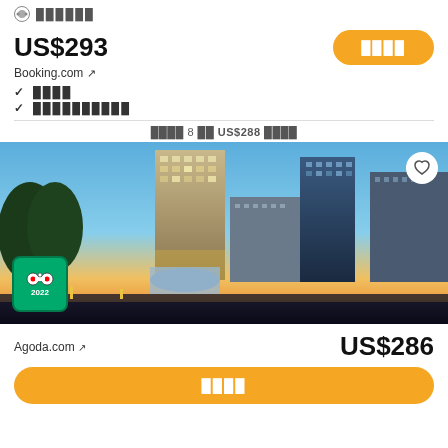██████
US$293
Booking.com ↗
✓ ████
✓ ██████████
████ 8 ██ US$288 ████
[Figure (photo): Hotel cityscape photo showing tall buildings at dusk with a TripAdvisor 2022 badge in the bottom left corner and a heart/favorite button in the top right corner.]
Agoda.com ↗
US$286
████